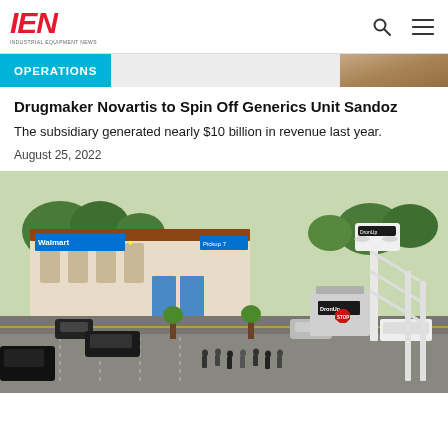IEN — INDUSTRIAL EQUIPMENT NEWS
OPERATIONS
Drugmaker Novartis to Spin Off Generics Unit Sandoz
The subsidiary generated nearly $10 billion in revenue last year.
August 25, 2022
[Figure (photo): Aerial view of a Walmart parking lot with DronUp drone delivery equipment and staff visible in the foreground.]